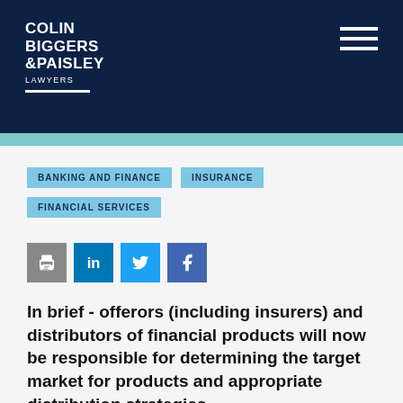COLIN BIGGERS & PAISLEY LAWYERS
BANKING AND FINANCE   INSURANCE
FINANCIAL SERVICES
[Figure (infographic): Social share icons: print, LinkedIn, Twitter, Facebook]
In brief - offerors (including insurers) and distributors of financial products will now be responsible for determining the target market for products and appropriate distribution strategies
The Government recently passed the Treasury Laws